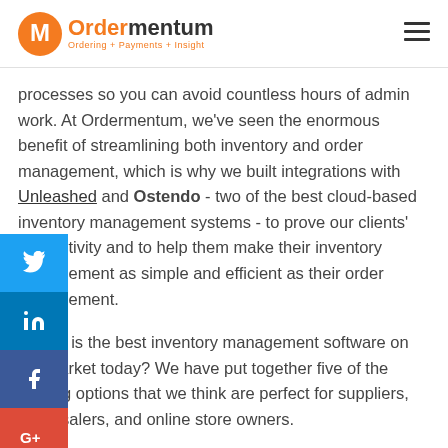Ordermentum — Ordering + Payments + Insight
processes so you can avoid countless hours of admin work. At Ordermentum, we've seen the enormous benefit of streamlining both inventory and order management, which is why we built integrations with Unleashed and Ostendo - two of the best cloud-based inventory management systems - to prove our clients' productivity and to help them make their inventory management as simple and efficient as their order management.

...what is the best inventory management software on the market today? We have put together five of the leading options that we think are perfect for suppliers, wholesalers, and online store owners.
1. Unleashed